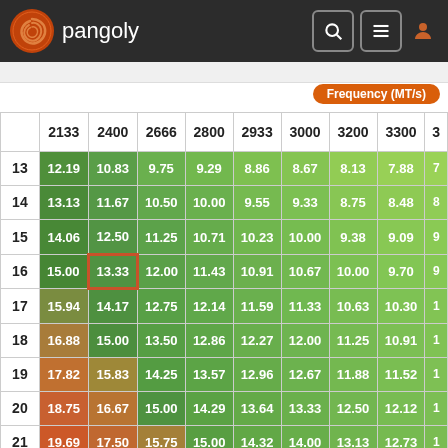pangoly
Frequency (MT/s)
|  | 2133 | 2400 | 2666 | 2800 | 2933 | 3000 | 3200 | 3300 | 3... |
| --- | --- | --- | --- | --- | --- | --- | --- | --- | --- |
| 13 | 12.19 | 10.83 | 9.75 | 9.29 | 8.86 | 8.67 | 8.13 | 7.88 | 7... |
| 14 | 13.13 | 11.67 | 10.50 | 10.00 | 9.55 | 9.33 | 8.75 | 8.48 | 8... |
| 15 | 14.06 | 12.50 | 11.25 | 10.71 | 10.23 | 10.00 | 9.38 | 9.09 | 9... |
| 16 | 15.00 | 13.33 | 12.00 | 11.43 | 10.91 | 10.67 | 10.00 | 9.70 | 9... |
| 17 | 15.94 | 14.17 | 12.75 | 12.14 | 11.59 | 11.33 | 10.63 | 10.30 | 1... |
| 18 | 16.88 | 15.00 | 13.50 | 12.86 | 12.27 | 12.00 | 11.25 | 10.91 | 1... |
| 19 | 17.82 | 15.83 | 14.25 | 13.57 | 12.96 | 12.67 | 11.88 | 11.52 | 1... |
| 20 | 18.75 | 16.67 | 15.00 | 14.29 | 13.64 | 13.33 | 12.50 | 12.12 | 1... |
| 21 | 19.69 | 17.50 | 15.75 | 15.00 | 14.32 | 14.00 | 13.13 | 12.73 | 1... |
| 22 | 20.63 | 18.33 | 16.50 | 15.71 | 15.00 | 14.67 | 13.75 | 13.33 | 1... |
| 23 | 21.57 | 19.17 | 17.25 | 16.43 | 15.68 | 15.33 | 14.38 | 13.94 | 1... |
| 24 | 22.50 | 20.00 | 18.00 | 17.14 | 16.37 | 16.00 | 15.00 | 14.55 | 1... |